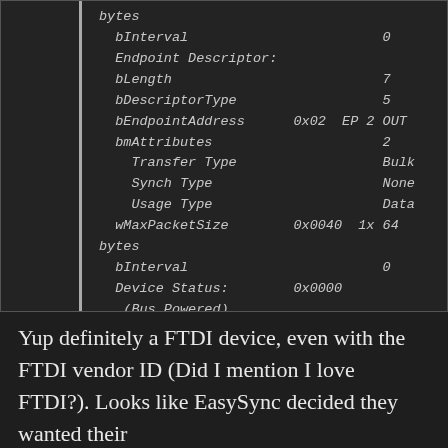[Figure (screenshot): Terminal/console output showing USB endpoint descriptor fields: bInterval 0, Endpoint Descriptor, bLength 7, bDescriptorType 5, bEndpointAddress 0x02 EP 2 OUT, bmAttributes 2, Transfer Type Bulk, Synch Type None, Usage Type Data, wMaxPacketSize 0x0040 1x 64 bytes, bInterval 0, Device Status: 0x0000, (Bus Powered)]
Yup definitely a FTDI device, even with the FTDI vendor ID (Did I mention I love FTDI?). Looks like EasySync decided they wanted their